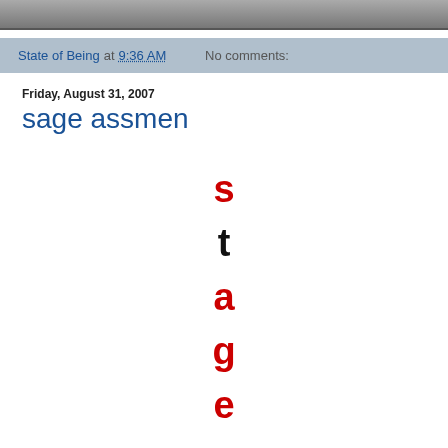[Figure (photo): Top image bar, partial screenshot of a photo/image]
State of Being at 9:36 AM   No comments:
Friday, August 31, 2007
sage assmen
[Figure (infographic): Letters s, t, a, g, e, s stacked vertically in large font, alternating red and black, centered on page]
a grim assessment
pentagon disputes report
korean hostages leave